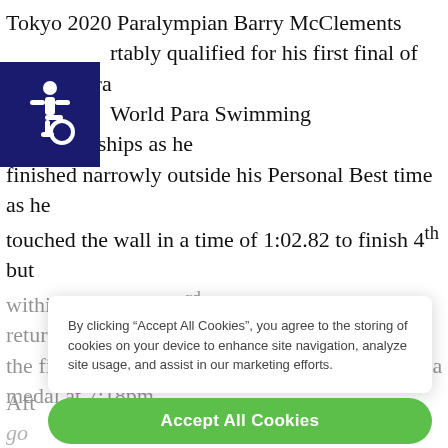Tokyo 2020 Paralympian Barry McClements comfortably qualified for his first final of the Madeira World Para Swimming Championships as he finished narrowly outside his Personal Best time as he touched the wall in a time of 1:02.82 to finish 4th but within 1 second of 3rd place. McClements will return for the final later today as he will be due to race for a medal at 7:18pm.
[Figure (other): Accessibility icon (wheelchair symbol) in white on dark navy blue square background]
By clicking “Accept All Cookies”, you agree to the storing of cookies on your device to enhance site navigation, analyze site usage, and assist in our marketing efforts.
Accept All Cookies
Aft... y go... ho...